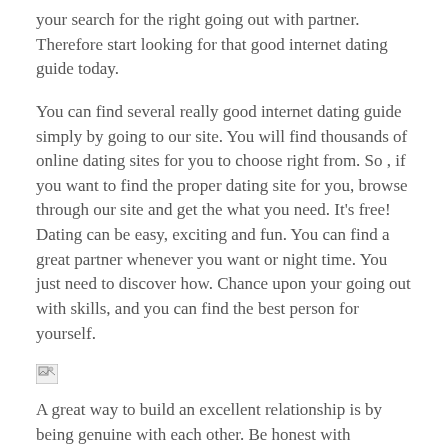your search for the right going out with partner. Therefore start looking for that good internet dating guide today.
You can find several really good internet dating guide simply by going to our site. You will find thousands of online dating sites for you to choose right from. So , if you want to find the proper dating site for you, browse through our site and get the what you need. It’s free! Dating can be easy, exciting and fun. You can find a great partner whenever you want or night time. You just need to discover how. Chance upon your going out with skills, and you can find the best person for yourself.
[Figure (photo): Broken image placeholder (small thumbnail)]
A great way to build an excellent relationship is by being genuine with each other. Be honest with